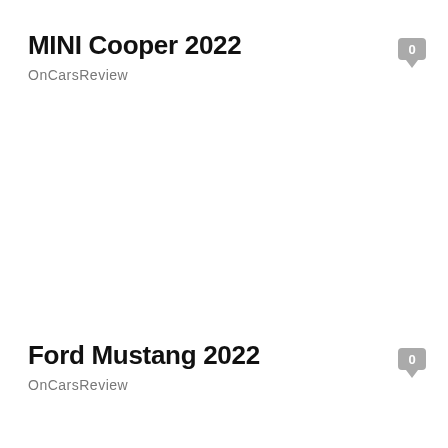MINI Cooper 2022
OnCarsReview
Ford Mustang 2022
OnCarsReview